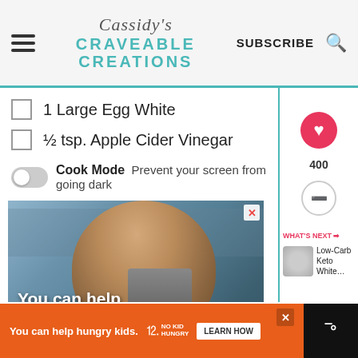Cassidy's Craveable Creations — SUBSCRIBE
1 Large Egg White
½ tsp. Apple Cider Vinegar
Cook Mode  Prevent your screen from going dark
[Figure (photo): Advertisement photo showing a child eating with text 'You can help hungry kids.' and No Kid Hungry orange bar]
You can help hungry kids.  No Kid Hungry  LEARN HOW